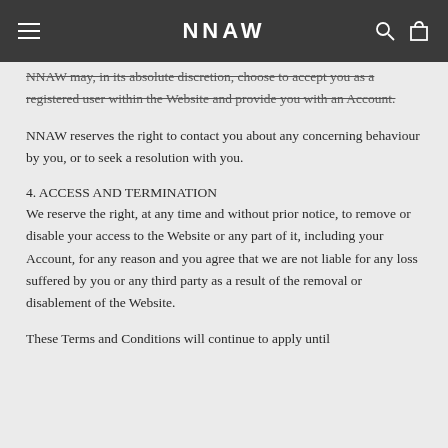NNAW
NNAW may, in its absolute discretion, choose to accept you as a registered user within the Website and provide you with an Account.
NNAW reserves the right to contact you about any concerning behaviour by you, or to seek a resolution with you.
4. ACCESS AND TERMINATION
We reserve the right, at any time and without prior notice, to remove or disable your access to the Website or any part of it, including your Account, for any reason and you agree that we are not liable for any loss suffered by you or any third party as a result of the removal or disablement of the Website.
These Terms and Conditions will continue to apply until